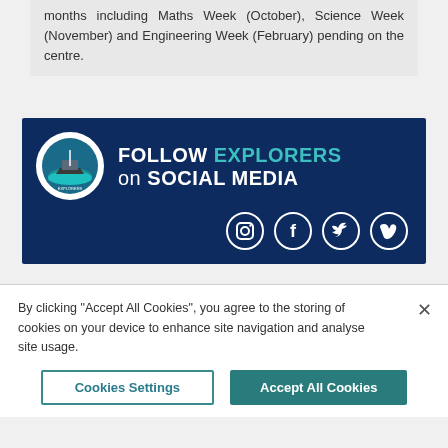months including Maths Week (October), Science Week (November) and Engineering Week (February) pending on the centre.
[Figure (infographic): Dark navy blue banner with Explorers Education Programme logo (circular badge with ship and water), text 'FOLLOW EXPLORERS on SOCIAL MEDIA', and social media icons for Instagram, Facebook, Twitter, and Vimeo]
By clicking "Accept All Cookies", you agree to the storing of cookies on your device to enhance site navigation and analyse site usage.
Cookies Settings   Accept All Cookies